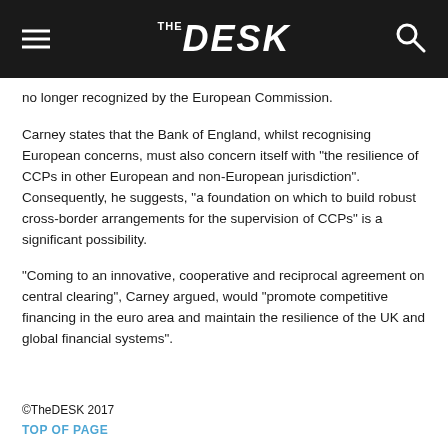THE DESK
no longer recognized by the European Commission.
Carney states that the Bank of England, whilst recognising European concerns, must also concern itself with “the resilience of CCPs in other European and non-European jurisdiction”. Consequently, he suggests, “a foundation on which to build robust cross-border arrangements for the supervision of CCPs” is a significant possibility.
“Coming to an innovative, cooperative and reciprocal agreement on central clearing”, Carney argued, would “promote competitive financing in the euro area and maintain the resilience of the UK and global financial systems”.
©TheDESK 2017
TOP OF PAGE